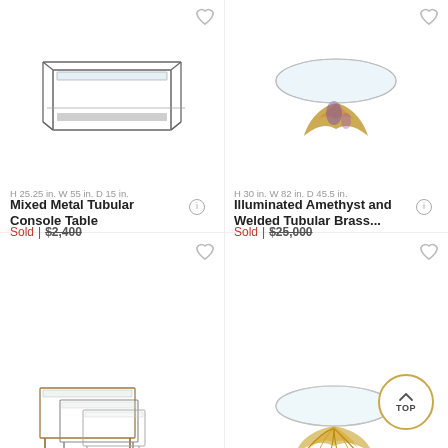[Figure (photo): Mixed metal tubular glass-top console table with two tiers]
H 25.25 in. W 55 in. D 15 in.
Mixed Metal Tubular Console Table
Sold | $2,400
[Figure (photo): Illuminated amethyst and welded tubular brass coffee table with round glass top]
H 30 in. W 82 in. D 45.5 in.
Illuminated Amethyst and Welded Tubular Brass...
Sold | $25,000
[Figure (photo): Nesting tables set on casters with metal frames and glass tops]
[Figure (photo): Round glass-top coffee table with decorative brass base]